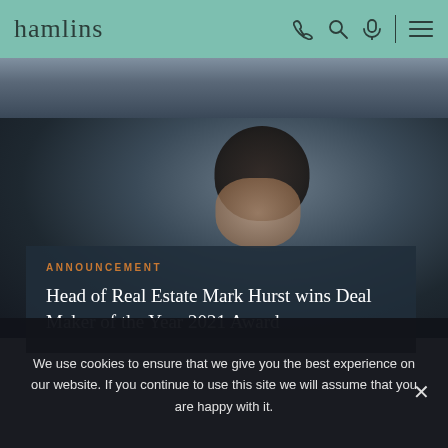hamlins
[Figure (photo): Screenshot of Hamlins law firm website showing header with logo and navigation icons on teal background, photo of a man in a suit (Mark Hurst), an announcement card overlay, and a cookie consent banner]
ANNOUNCEMENT
Head of Real Estate Mark Hurst wins Deal Maker of the Year 2021 Award
We use cookies to ensure that we give you the best experience on our website. If you continue to use this site we will assume that you are happy with it.